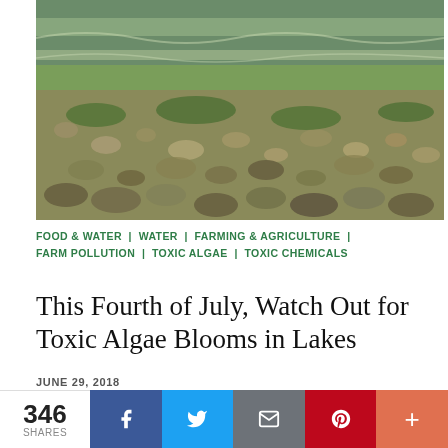[Figure (photo): Aerial or close-up photo of green toxic algae blooms covering a lake shore and shallow water. Waves of green-tinted water visible in background; green algae mixed with pebbles and debris on the shore in foreground.]
FOOD & WATER | WATER | FARMING & AGRICULTURE | FARM POLLUTION | TOXIC ALGAE | TOXIC CHEMICALS
This Fourth of July, Watch Out for Toxic Algae Blooms in Lakes
JUNE 29, 2018
Millions of people could be exposed to potentially toxic algae blooms this July Fourth holiday.